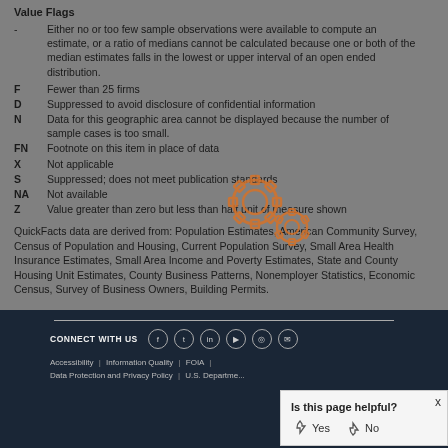Value Flags
- Either no or too few sample observations were available to compute an estimate, or a ratio of medians cannot be calculated because one or both of the median estimates falls in the lowest or upper interval of an open ended distribution.
F Fewer than 25 firms
D Suppressed to avoid disclosure of confidential information
N Data for this geographic area cannot be displayed because the number of sample cases is too small.
FN Footnote on this item in place of data
X Not applicable
S Suppressed; does not meet publication standards
NA Not available
Z Value greater than zero but less than half unit of measure shown
QuickFacts data are derived from: Population Estimates, American Community Survey, Census of Population and Housing, Current Population Survey, Small Area Health Insurance Estimates, Small Area Income and Poverty Estimates, State and County Housing Unit Estimates, County Business Patterns, Nonemployer Statistics, Economic Census, Survey of Business Owners, Building Permits.
CONNECT WITH US | Accessibility | Information Quality | FOIA | Data Protection and Privacy Policy | U.S. Department of Commerce
Is this page helpful? Yes No